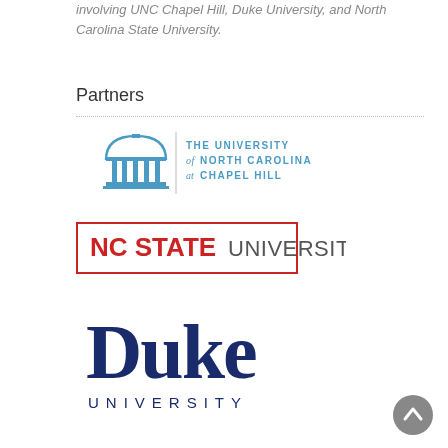involving UNC Chapel Hill, Duke University, and North Carolina State University.
Partners
[Figure (logo): The University of North Carolina at Chapel Hill logo — blue rotunda icon with vertical bar divider, text reading THE UNIVERSITY of NORTH CAROLINA at CHAPEL HILL in steel blue]
[Figure (logo): NC State University logo — red bold text NC STATE followed by gray UNIVERSITY, enclosed in a red rectangle border]
[Figure (logo): Duke University logo — large navy blue serif text 'Duke' and below in spaced capitals 'UNIVERSITY']